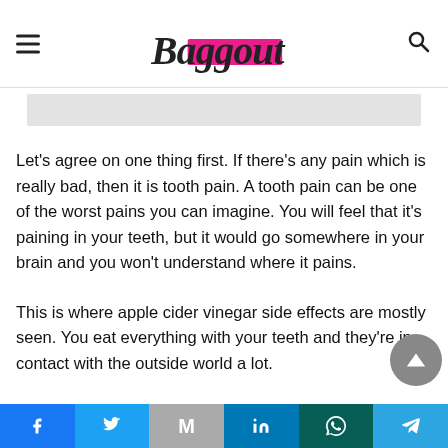Baggout
Let's agree on one thing first. If there’s any pain which is really bad, then it is tooth pain. A tooth pain can be one of the worst pains you can imagine. You will feel that it’s paining in your teeth, but it would go somewhere in your brain and you won’t understand where it pains.
This is where apple cider vinegar side effects are mostly seen. You eat everything with your teeth and they’re in contact with the outside world a lot.
Facebook | Twitter | Gmail | LinkedIn | WhatsApp | Telegram